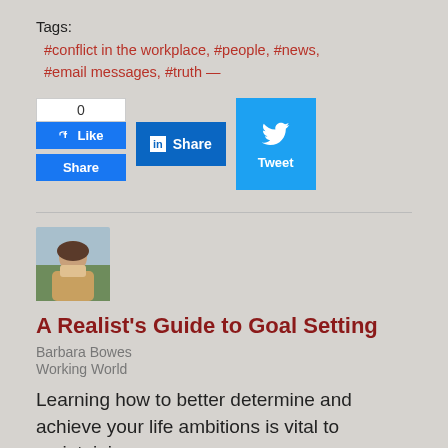Tags:
#conflict in the workplace, #people, #news, #email messages, #truth —
[Figure (screenshot): Social sharing buttons: Facebook Like/Share, LinkedIn Share, Twitter Tweet]
[Figure (photo): Author profile photo thumbnail]
A Realist's Guide to Goal Setting
Barbara Bowes
Working World
Learning how to better determine and achieve your life ambitions is vital to maintaining success.